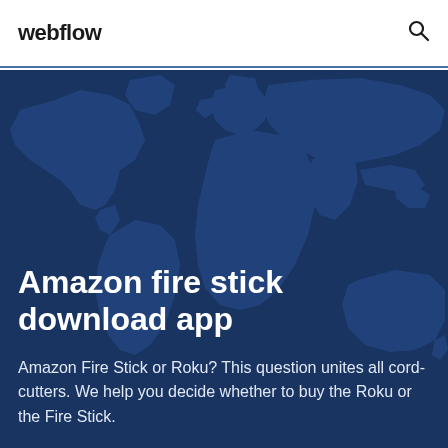webflow
[Figure (illustration): World map silhouette in teal/blue tones on dark navy background, used as hero section background]
Amazon fire stick download app
Amazon Fire Stick or Roku? This question unites all cord-cutters. We help you decide whether to buy the Roku or the Fire Stick.